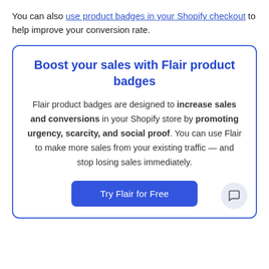You can also use product badges in your Shopify checkout to help improve your conversion rate.
Boost your sales with Flair product badges
Flair product badges are designed to increase sales and conversions in your Shopify store by promoting urgency, scarcity, and social proof. You can use Flair to make more sales from your existing traffic — and stop losing sales immediately.
Try Flair for Free